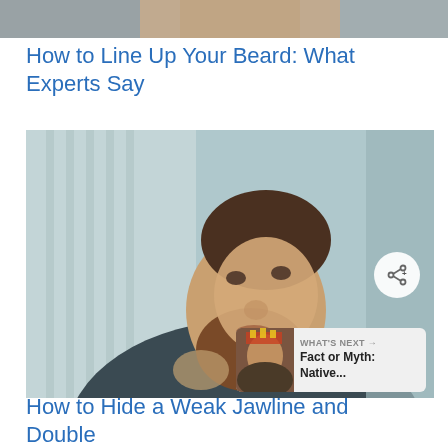[Figure (photo): Partial cropped photo strip at top of page, showing a grayscale human face/head region, cropped tightly]
How to Line Up Your Beard: What Experts Say
[Figure (photo): Photo of a young man with a brown beard touching his face/beard with both hands, wearing a dark robe, looking upward. Background is a blurred light teal/blue interior. A share button (circle with share icon) overlays the bottom right of the image. A 'WHAT'S NEXT' overlay box in the bottom right corner shows a thumbnail and text 'Fact or Myth: Native...']
How to Hide a Weak Jawline and Double